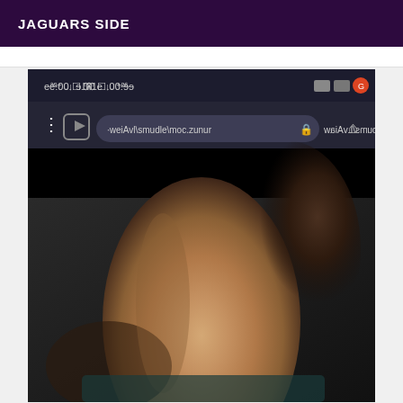JAGUARS SIDE
[Figure (screenshot): Mobile browser screenshot showing a website URL bar (hunuz.com/albums/LvAiaw mirrored/reversed) with a photo of a person's neck/shoulder area below. The screenshot appears to be from an Android device showing time 00:33 and various status bar icons.]